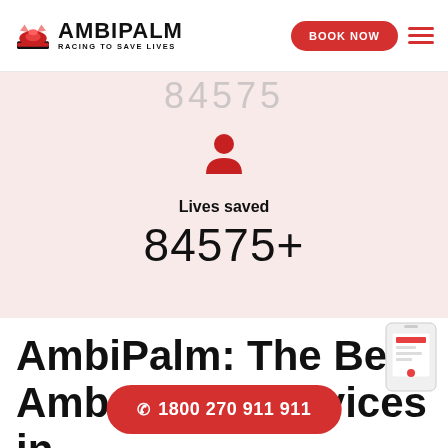[Figure (logo): AmbiPalm logo with red siren light and text 'AMBIPALM - RACING TO SAVE LIVES']
BOOK NOW
84575+
Lives saved
84575+
AmbiPalm: The Best Ambulance Services in
☎ 1800 270 911 911